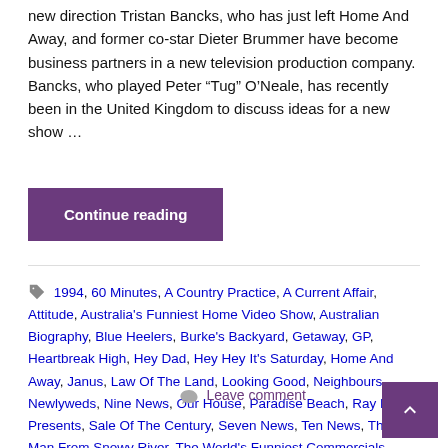new direction Tristan Bancks, who has just left Home And Away, and former co-star Dieter Brummer have become business partners in a new television production company. Bancks, who played Peter “Tug” O’Neale, has recently been in the United Kingdom to discuss ideas for a new show …
Continue reading
1994, 60 Minutes, A Country Practice, A Current Affair, Attitude, Australia's Funniest Home Video Show, Australian Biography, Blue Heelers, Burke's Backyard, Getaway, GP, Heartbreak High, Hey Dad, Hey Hey It's Saturday, Home And Away, Janus, Law Of The Land, Looking Good, Neighbours, Newlyweds, Nine News, Our House, Paradise Beach, Ray Martin Presents, Sale Of The Century, Seven News, Ten News, The Man From Snowy River, The World's Funniest Commercials, Wedlocked
Leave comment